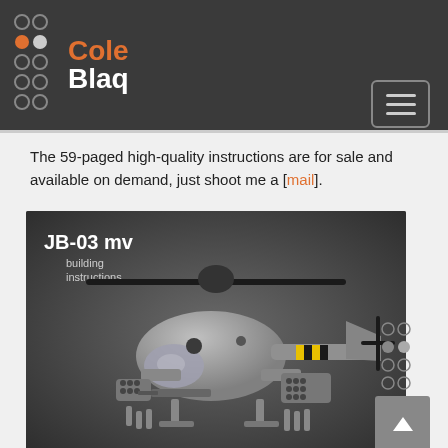GoleBlaq logo and navigation header
The 59-paged high-quality instructions are for sale and available on demand, just shoot me a [mail].
[Figure (photo): LEGO-style helicopter model labeled JB-03 mv building instructions, shown as a detailed grey military attack helicopter build]